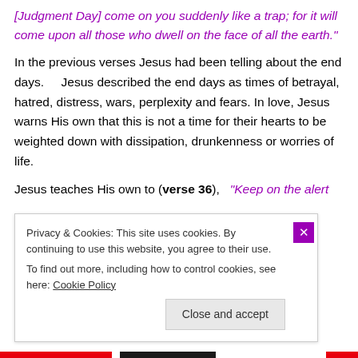[Judgment Day] come on you suddenly like a trap; for it will come upon all those who dwell on the face of all the earth."
In the previous verses Jesus had been telling about the end days. Jesus described the end days as times of betrayal, hatred, distress, wars, perplexity and fears. In love, Jesus warns His own that this is not a time for their hearts to be weighted down with dissipation, drunkenness or worries of life.
Jesus teaches His own to (verse 36), "Keep on the alert
Privacy & Cookies: This site uses cookies. By continuing to use this website, you agree to their use.
To find out more, including how to control cookies, see here: Cookie Policy